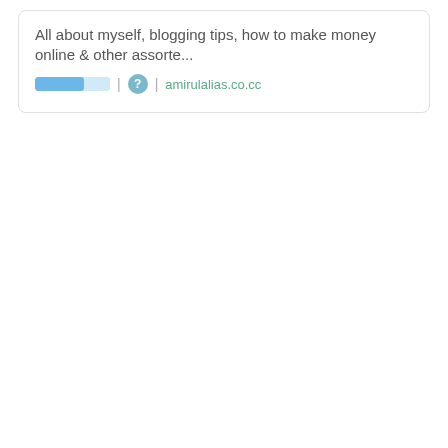All about myself, blogging tips, how to make money online & other assorte...
[Figure (other): A horizontal progress bar (blue fill, light blue background) followed by a separator pipe, a teal question mark circle icon, another separator pipe, and a green link 'amirulalias.co.cc']